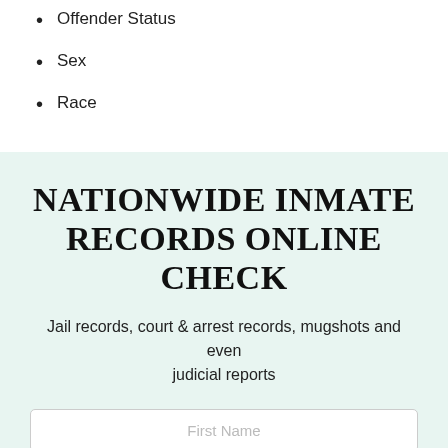Offender Status
Sex
Race
NATIONWIDE INMATE RECORDS ONLINE CHECK
Jail records, court & arrest records, mugshots and even judicial reports
First Name
Last Name